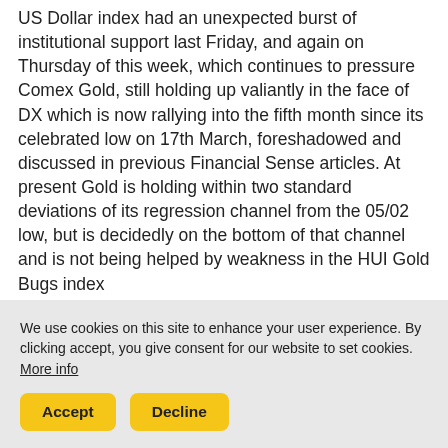US Dollar index had an unexpected burst of institutional support last Friday, and again on Thursday of this week, which continues to pressure Comex Gold, still holding up valiantly in the face of DX which is now rallying into the fifth month since its celebrated low on 17th March, foreshadowed and discussed in previous Financial Sense articles. At present Gold is holding within two standard deviations of its regression channel from the 05/02 low, but is decidedly on the bottom of that channel and is not being helped by weakness in the HUI Gold Bugs index
We use cookies on this site to enhance your user experience. By clicking accept, you give consent for our website to set cookies. More info